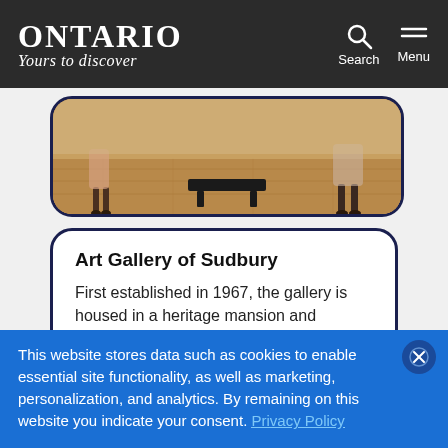ONTARIO Yours to discover | Search | Menu
[Figure (photo): Partial view of an interior gallery space showing a wooden floor, a black bench in the center, and legs of people standing around]
Art Gallery of Sudbury
First established in 1967, the gallery is housed in a heritage mansion and
This website stores data such as cookies to enable essential site functionality, as well as marketing, personalization, and analytics. By remaining on this website you indicate your consent. Privacy Policy